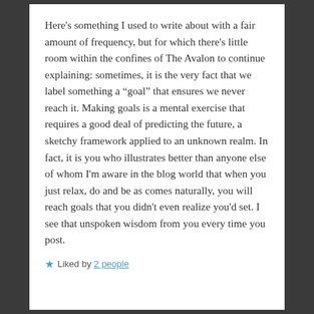Here's something I used to write about with a fair amount of frequency, but for which there's little room within the confines of The Avalon to continue explaining: sometimes, it is the very fact that we label something a “goal” that ensures we never reach it. Making goals is a mental exercise that requires a good deal of predicting the future, a sketchy framework applied to an unknown realm. In fact, it is you who illustrates better than anyone else of whom I'm aware in the blog world that when you just relax, do and be as comes naturally, you will reach goals that you didn't even realize you'd set. I see that unspoken wisdom from you every time you post.
★ Liked by 2 people